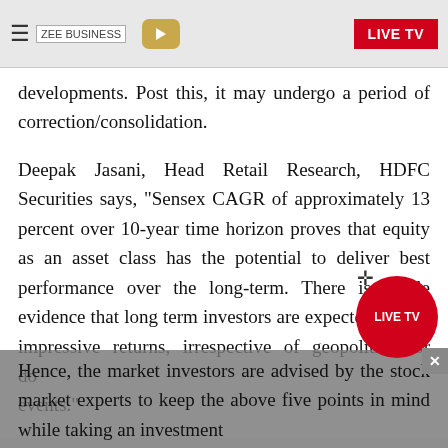ZEE BUSINESS | LIVE TV
developments. Post this, it may undergo a period of correction/consolidation.
Deepak Jasani, Head Retail Research, HDFC Securities says, "Sensex CAGR of approximately 13 percent over 10-year time horizon proves that equity as an asset class has the potential to deliver best performance over the long-term. There is ample evidence that long term investors are expected to earn impressive returns, irrespective of geopolitical or domestic events."
Hence, the market investors are advised by the stock market experts to keep the above five points in mind while taking an investment